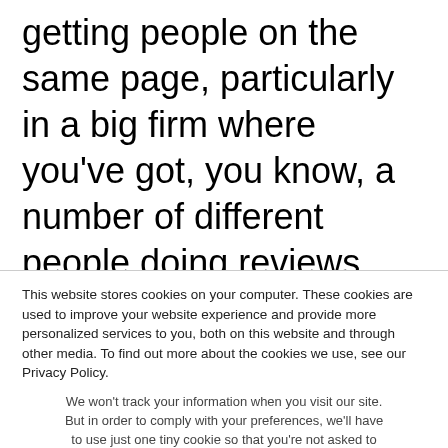getting people on the same page, particularly in a big firm where you've got, you know, a number of different people doing reviews and you have to kind of be fair and bring it back together and have So the partner is performing at the same level, even though they might be different, offices and different divisions, receive a consistent outcome. So, all of the people who are in the process need to get their
This website stores cookies on your computer. These cookies are used to improve your website experience and provide more personalized services to you, both on this website and through other media. To find out more about the cookies we use, see our Privacy Policy.
We won't track your information when you visit our site. But in order to comply with your preferences, we'll have to use just one tiny cookie so that you're not asked to make this choice again.
Accept
Decline